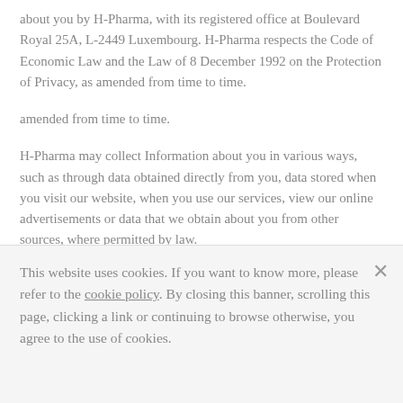about you by H-Pharma, with its registered office at Boulevard Royal 25A, L-2449 Luxembourg. H-Pharma respects the Code of Economic Law and the Law of 8 December 1992 on the Protection of Privacy, as amended from time to time.
amended from time to time.
H-Pharma may collect Information about you in various ways, such as through data obtained directly from you, data stored when you visit our website, when you use our services, view our online advertisements or data that we obtain about you from other sources, where permitted by law.
This website uses cookies. If you want to know more, please refer to the cookie policy. By closing this banner, scrolling this page, clicking a link or continuing to browse otherwise, you agree to the use of cookies.